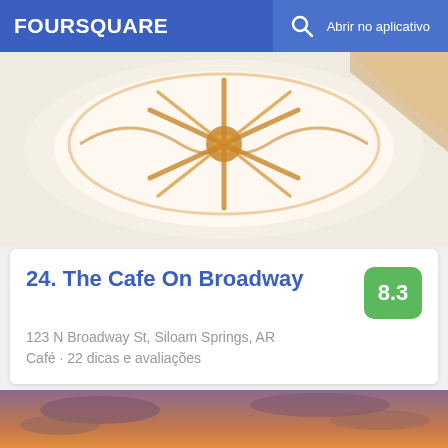FOURSQUARE  Abrir no aplicativo
[Figure (photo): Close-up photo of a latte with caramel art design on the foam, showing a sun/star pattern with radiating lines in golden brown on white foam]
24. The Cafe On Broadway
123 N Broadway St, Siloam Springs, AR
Café · 22 dicas e avaliações
[Figure (photo): Photo of a sunset over a calm body of water with a lamp post and metal railing fence in the foreground, warm orange and pink sky tones]